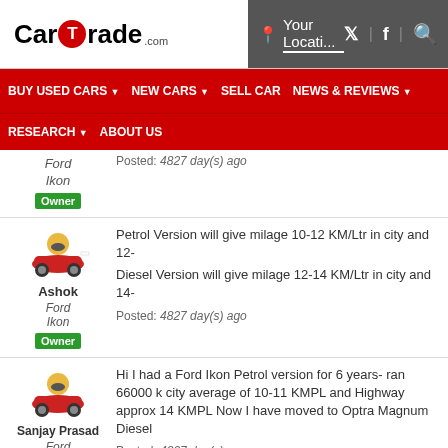[Figure (logo): CarTrade.com logo with red circle around T]
Your Locati...
BUY USED CARS  NEW CARS  SELL CAR  NEWS & REVIEWS  RESEARCH  ABOUT US
Ford Ikon
Owner
Posted: 4827 day(s) ago
[Figure (illustration): Yellow cartoon racing car avatar for user Ashok]
Ashok
Ford Ikon
Owner
Petrol Version will give milage 10-12 KM/Ltr in city and 12-
Diesel Version will give milage 12-14 KM/Ltr in city and 14-
Posted: 4827 day(s) ago
[Figure (illustration): Yellow cartoon racing car avatar for user Sanjay Prasad]
Sanjay Prasad
Ford Ikon
Owner
Hi I had a Ford Ikon Petrol version for 6 years- ran 66000 k city average of 10-11 KMPL and Highway approx 14 KMPL Now I have moved to Optra Magnum Diesel
Posted: 4827 day(s) ago
[Figure (illustration): Yellow cartoon racing car avatar for fourth user]
You can safely run the car for 100000 kms before it needs